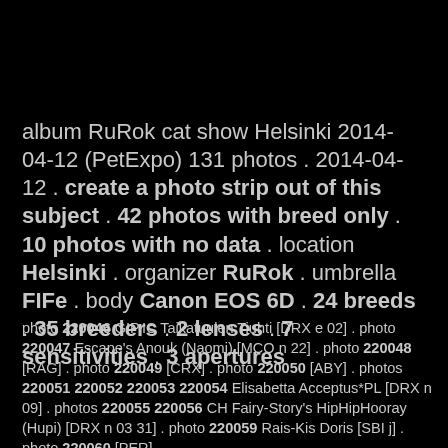album RuRok cat show Helsinki 2014-04-12 (PetExpo) 131 photos . 2014-04-12 . create a photo strip out of this subject . 42 photos with breed only . 10 photos with no data . location Helsinki . organizer RuRok . umbrella FIFe . body Canon EOS 6D . 24 breeds . 35 breeders . 2 lenses . 7 sensitivities . 3 apertures
photo 220046 GIP,IC Taikatuulen Tiuhti [DRX e 02] . photo 220047 Escape's Anouk (Naomi) [MCO n 22] . photo 220048 [RAG] . photo 220049 [CRX] . photo 220050 [ABY] . photos 220051 220052 220053 220054 Elisabetta Acceptus*PL [DRX n 09] . photos 220055 220056 CH Fairy-Story's HipHipHooray (Hupi) [DRX n 03 31] . photo 220059 Rais-Kis Doris [SBI j] . photo 220060 [PER]